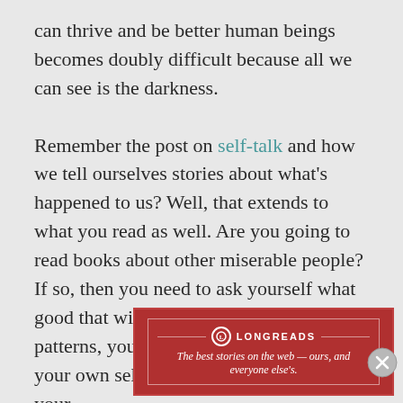can thrive and be better human beings becomes doubly difficult because all we can see is the darkness.

Remember the post on self-talk and how we tell ourselves stories about what's happened to us? Well, that extends to what you read as well. Are you going to read books about other miserable people? If so, then you need to ask yourself what good that will do your own thought patterns, your own self-narratives, and your own self-talk. Why? Because just as your
Advertisements
[Figure (other): Longreads advertisement banner: red background with Longreads logo and tagline 'The best stories on the web — ours, and everyone else's.']